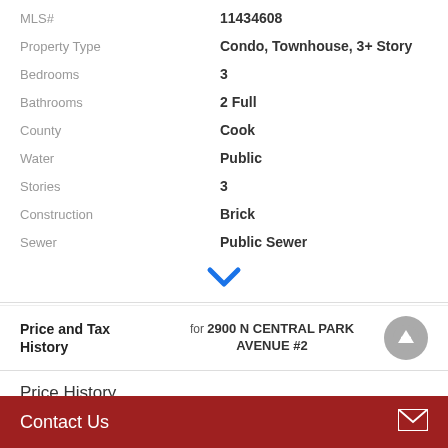| Field | Value |
| --- | --- |
| MLS# | 11434608 |
| Property Type | Condo, Townhouse, 3+ Story |
| Bedrooms | 3 |
| Bathrooms | 2 Full |
| County | Cook |
| Water | Public |
| Stories | 3 |
| Construction | Brick |
| Sewer | Public Sewer |
[Figure (other): Blue downward chevron/arrow icon indicating expandable content]
Price and Tax History for 2900 N CENTRAL PARK AVENUE #2
Price History
Contact Us